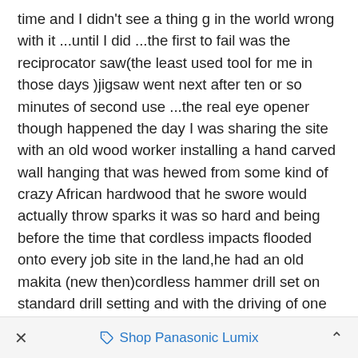time and I didn't see a thing g in the world wrong with it ...until I did ...the first to fail was the reciprocator saw(the least used tool for me in those days )jigsaw went next after ten or so minutes of second use ...the real eye opener though happened the day I was sharing the site with an old wood worker installing a hand carved wall hanging that was hewed from some kind of crazy African hardwood that he swore would actually throw sparks it was so hard and being before the time that cordless impacts flooded onto every job site in the land,he had an old makita (new then)cordless hammer drill set on standard drill setting and with the driving of one of the four inch specialty screws the difference between his drill and mine was instantly clear...his had a solid ,smooth and low hum to it  while my ryobi sort of sounded
× Shop Panasonic Lumix ^